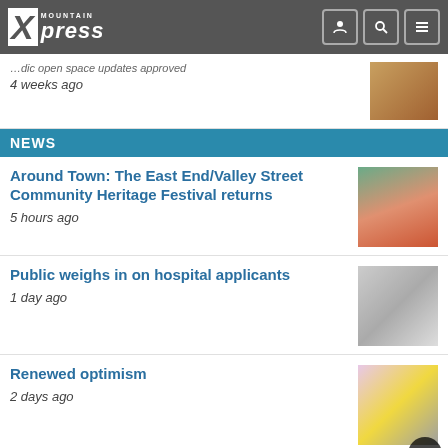Mountain Xpress
4 weeks ago
NEWS
Around Town: The East End/Valley Street Community Heritage Festival returns
5 hours ago
Public weighs in on hospital applicants
1 day ago
Renewed optimism
2 days ago
ASHEVILLE-AREA